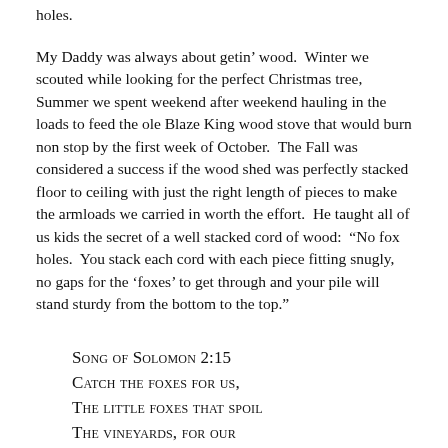holes.
My Daddy was always about getin' wood.  Winter we scouted while looking for the perfect Christmas tree, Summer we spent weekend after weekend hauling in the loads to feed the ole Blaze King wood stove that would burn non stop by the first week of October.  The Fall was considered a success if the wood shed was perfectly stacked floor to ceiling with just the right length of pieces to make the armloads we carried in worth the effort.  He taught all of us kids the secret of a well stacked cord of wood:  “No fox holes.  You stack each cord with each piece fitting snugly, no gaps for the ‘foxes’ to get through and your pile will stand sturdy from the bottom to the top.”
Song of Solomon 2:15
Catch the foxes for us,
the little foxes that spoil
the vineyards, for our